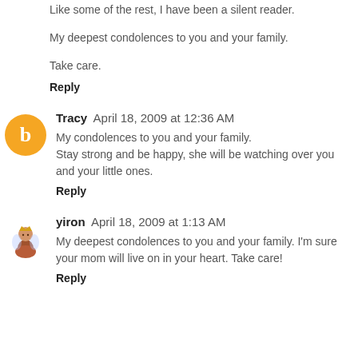Like some of the rest, I have been a silent reader.
My deepest condolences to you and your family.
Take care.
Reply
Tracy  April 18, 2009 at 12:36 AM
My condolences to you and your family. Stay strong and be happy, she will be watching over you and your little ones.
Reply
yiron  April 18, 2009 at 1:13 AM
My deepest condolences to you and your family. I'm sure your mom will live on in your heart. Take care!
Reply